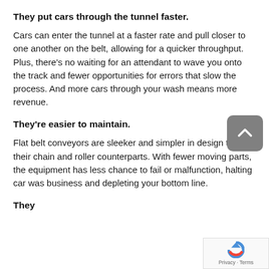They put cars through the tunnel faster.
Cars can enter the tunnel at a faster rate and pull closer to one another on the belt, allowing for a quicker throughput. Plus, there's no waiting for an attendant to wave you onto the track and fewer opportunities for errors that slow the process. And more cars through your wash means more revenue.
They're easier to maintain.
Flat belt conveyors are sleeker and simpler in design than their chain and roller counterparts. With fewer moving parts, the equipment has less chance to fail or malfunction, halting car was business and depleting your bottom line.
They